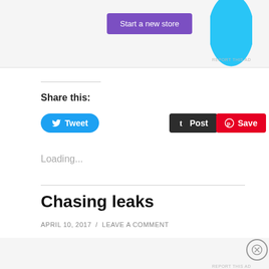[Figure (other): Advertisement banner with purple 'Start a new store' button and cyan shape on right, with 'REPORT THIS AD' link]
Share this:
[Figure (other): Twitter Tweet button (blue rounded), Tumblr Post button (dark), Pinterest Save button (red)]
Loading...
Chasing leaks
APRIL 10, 2017 / LEAVE A COMMENT
[Figure (other): Advertisements banner: ThePlatform Where WordPress Works Best — Pressable logo]